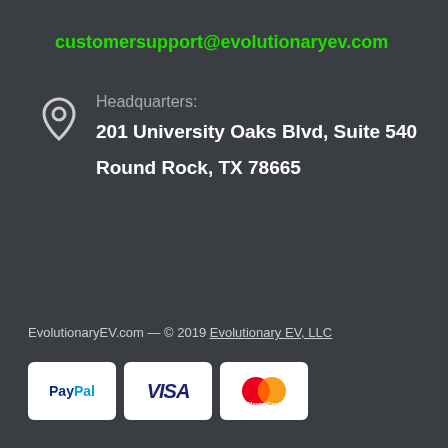customersupport@evolutionaryev.com
Headquarters:
201 University Oaks Blvd, Suite 540
Round Rock, TX 78665
EvolutionaryEV.com — © 2019 Evolutionary EV, LLC
[Figure (logo): PayPal, VISA, and MasterCard payment method logos displayed as white rounded-rectangle badges]